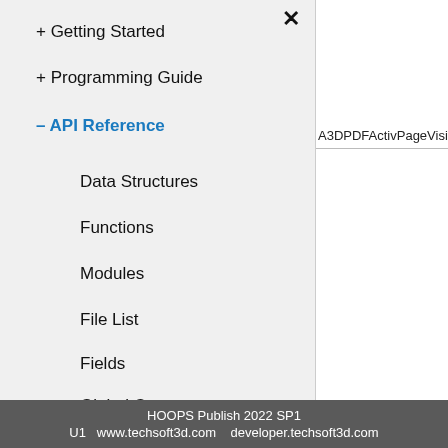+ Getting Started
+ Programming Guide
– API Reference
Data Structures
Functions
Modules
File List
Fields
Global Constants
Deprecated List
Release Notes
A3DPDFActivPageVisib
HOOPS Publish 2022 SP1
U1   www.techsoft3d.com    developer.techsoft3d.com